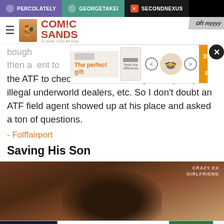PERCOLATELY  GEORGETAKEI  SECONDNEXUS
[Figure (logo): Comic Sands website logo with rooster illustration]
[Figure (infographic): Advertisement banner: The perfect gift, 35% OFF + FREE SHIPPING]
the ATF to check him out as a way to help stop illegal underworld dealers, etc. So I don't doubt an ATF field agent showed up at his place and asked a ton of questions.
- Folffairport
Saving His Son
[Figure (photo): Close-up photo of a person with dark hair. Watermark reads CRAZY EX GIRLFRIEND]
[Figure (infographic): Advertisement: $82 Million Class Action Settlement. IF YOU BOUGHT OR LEASED A NEW CAR OR TRUCK IN CALIFORNIA FROM 2001 - 2003. FILE YOUR CLAIM NOW]